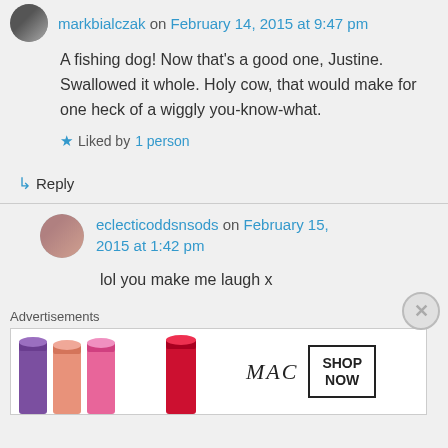markbialczak on February 14, 2015 at 9:47 pm
A fishing dog! Now that’s a good one, Justine. Swallowed it whole. Holy cow, that would make for one heck of a wiggly you-know-what.
Liked by 1 person
↳ Reply
eclecticoddsnsods on February 15, 2015 at 1:42 pm
lol you make me laugh x
Advertisements
[Figure (photo): MAC cosmetics advertisement showing lipsticks with SHOP NOW button]